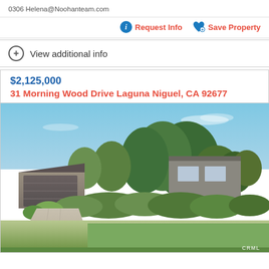0306 Helena@Noohanteam.com
Request Info   Save Property
View additional info
$2,125,000
31 Morning Wood Drive Laguna Niguel, CA 92677
[Figure (photo): Exterior photo of a modern single-story home with attached garage, trees in front yard, concrete driveway, and manicured landscaping under a clear blue sky. CRML watermark in bottom right.]